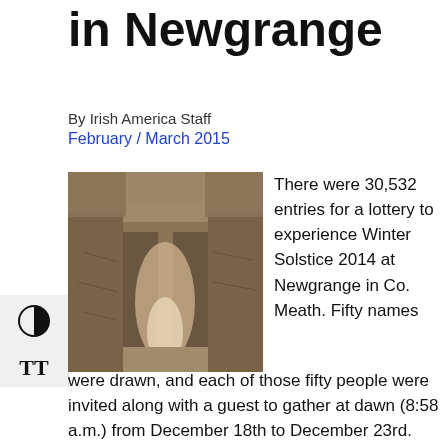in Newgrange
By Irish America Staff
February / March 2015
[Figure (photo): Interior of Newgrange passage tomb showing large standing stones forming a narrow corridor]
There were 30,532 entries for a lottery to experience Winter Solstice 2014 at Newgrange in Co. Meath. Fifty names were drawn, and each of those fifty people were invited along with a guest to gather at dawn (8:58 a.m.) from December 18th to December 23rd. Newgrange is the best known Irish passage tomb and dates to around 3200